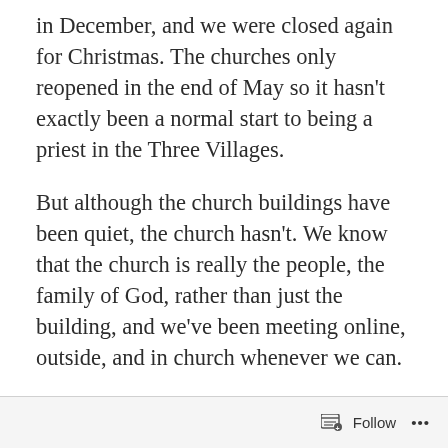in December, and we were closed again for Christmas. The churches only reopened in the end of May so it hasn't exactly been a normal start to being a priest in the Three Villages.
But although the church buildings have been quiet, the church hasn't. We know that the church is really the people, the family of God, rather than just the building, and we've been meeting online, outside, and in church whenever we can.
You may have seen me walking to school in the morning with my youngest, and it's been a great thing to be able to join the community as a mum as well as a priest.
Follow ···